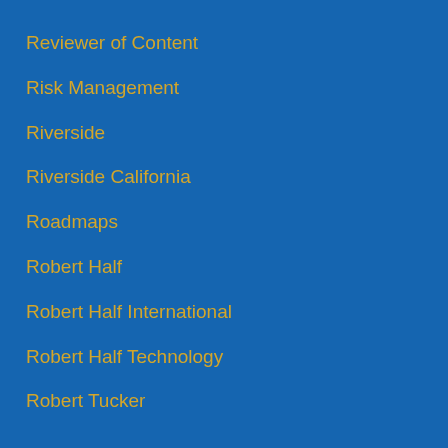Reviewer of Content
Risk Management
Riverside
Riverside California
Roadmaps
Robert Half
Robert Half International
Robert Half Technology
Robert Tucker